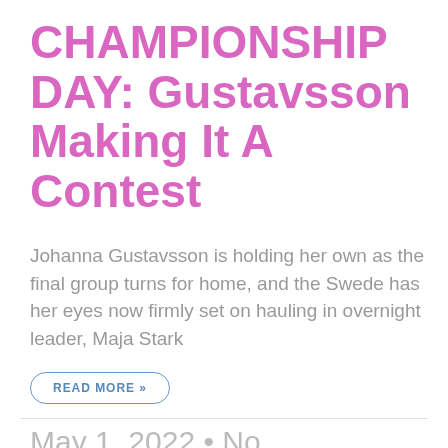CHAMPIONSHIP DAY: Gustavsson Making It A Contest
Johanna Gustavsson is holding her own as the final group turns for home, and the Swede has her eyes now firmly set on hauling in overnight leader, Maja Stark
READ MORE »
May 1, 2022 • No